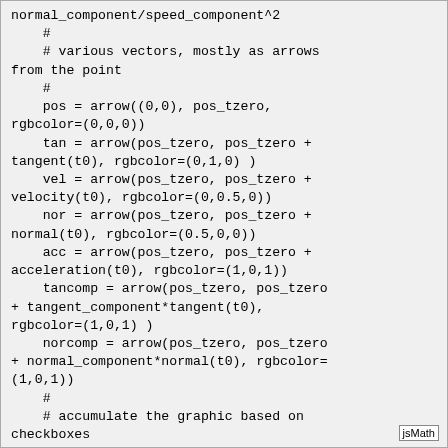normal_component/speed_component^2
    #
    # various vectors, mostly as arrows from the point
    #
    pos = arrow((0,0), pos_tzero, rgbcolor=(0,0,0))
    tan = arrow(pos_tzero, pos_tzero + tangent(t0), rgbcolor=(0,1,0) )
    vel = arrow(pos_tzero, pos_tzero + velocity(t0), rgbcolor=(0,0.5,0))
    nor = arrow(pos_tzero, pos_tzero + normal(t0), rgbcolor=(0.5,0,0))
    acc = arrow(pos_tzero, pos_tzero + acceleration(t0), rgbcolor=(1,0,1))
    tancomp = arrow(pos_tzero, pos_tzero + tangent_component*tangent(t0), rgbcolor=(1,0,1) )
    norcomp = arrow(pos_tzero, pos_tzero + normal_component*normal(t0), rgbcolor=(1,0,1))
    #
    # accumulate the graphic based on checkboxes
    #